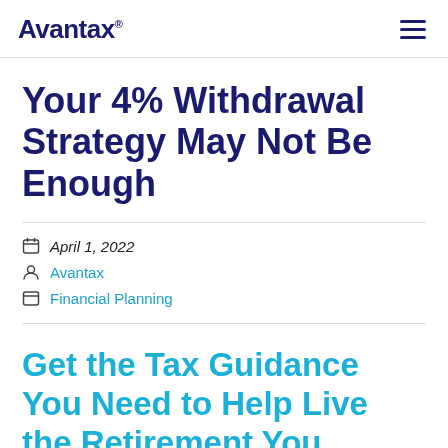Avantax®
Your 4% Withdrawal Strategy May Not Be Enough
April 1, 2022
Avantax
Financial Planning
Get the Tax Guidance You Need to Help Live the Retirement You